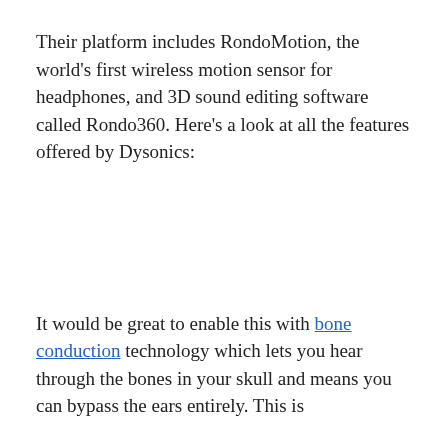Their platform includes RondoMotion, the world's first wireless motion sensor for headphones, and 3D sound editing software called Rondo360. Here's a look at all the features offered by Dysonics:
It would be great to enable this with bone conduction technology which lets you hear through the bones in your skull and means you can bypass the ears entirely. This is